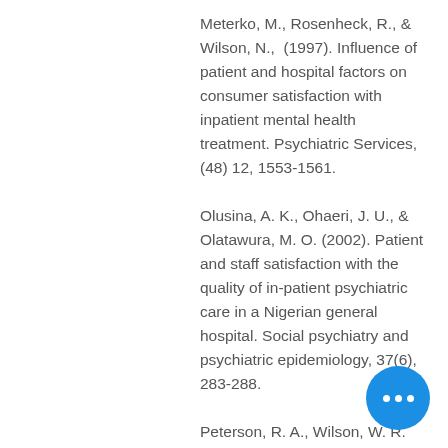Meterko, M., Rosenheck, R., & Wilson, N.,  (1997). Influence of patient and hospital factors on consumer satisfaction with inpatient mental health treatment. Psychiatric Services, (48) 12, 1553-1561.
Olusina, A. K., Ohaeri, J. U., & Olatawura, M. O. (2002). Patient and staff satisfaction with the quality of in-patient psychiatric care in a Nigerian general hospital. Social psychiatry and psychiatric epidemiology, 37(6), 283-288.
Peterson, R. A., Wilson, W. R. (1992). Measuring customer satisfaction and artifact.  Journal of Academy Marketing Science, 20 (1), pp. 61-71.